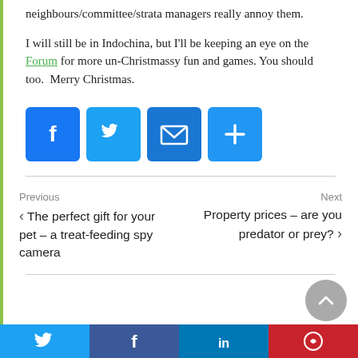neighbours/committee/strata managers really annoy them.
I will still be in Indochina, but I'll be keeping an eye on the Forum for more un-Christmassy fun and games. You should too.  Merry Christmas.
[Figure (infographic): Four social sharing icon buttons: Facebook (blue), Twitter (light blue), Email (dark blue), Share/Plus (blue)]
Previous
The perfect gift for your pet – a treat-feeding spy camera
Next
Property prices – are you predator or prey?
[Figure (infographic): Four social sharing icons at bottom: Twitter (cyan), Facebook (dark blue), LinkedIn (dark blue), Pinterest (red)]